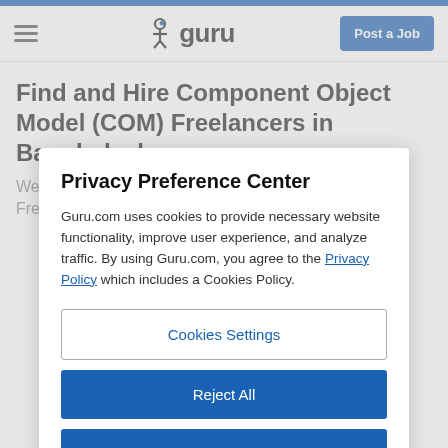guru — Post a Job
Find and Hire Component Object Model (COM) Freelancers in Bangladesh
We found 441 Component Object Model (COM) Freelancers offering 829 freelancing services online in
Privacy Preference Center
Guru.com uses cookies to provide necessary website functionality, improve user experience, and analyze traffic. By using Guru.com, you agree to the Privacy Policy which includes a Cookies Policy.
Cookies Settings
Reject All
Accept All Cookies